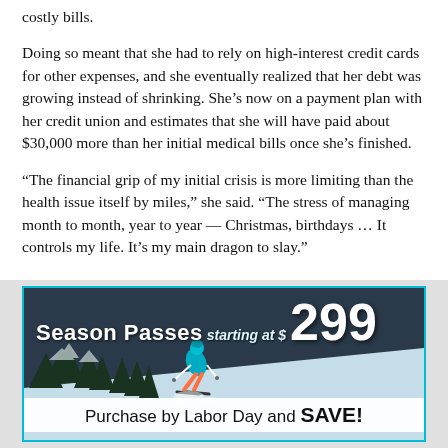costly bills.
Doing so meant that she had to rely on high-interest credit cards for other expenses, and she eventually realized that her debt was growing instead of shrinking. She’s now on a payment plan with her credit union and estimates that she will have paid about $30,000 more than her initial medical bills once she’s finished.
“The financial grip of my initial crisis is more limiting than the health issue itself by miles,” she said. “The stress of managing month to month, year to year — Christmas, birthdays … It controls my life. It’s my main dragon to slay.”
[Figure (illustration): Advertisement banner for Season Passes starting at $299. Shows a skier on a snowy slope. Text reads 'Season Passes starting at $299' and 'Purchase by Labor Day and SAVE!']